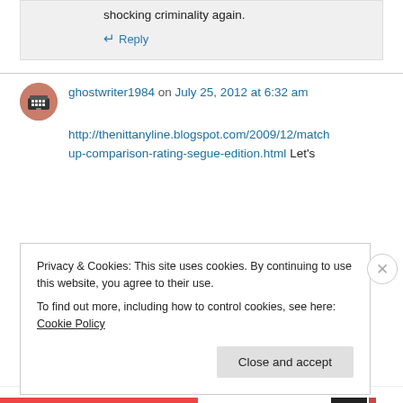shocking criminality again.
↵ Reply
ghostwriter1984 on July 25, 2012 at 6:32 am
http://thenittanyline.blogspot.com/2009/12/matchup-comparison-rating-segue-edition.html Let's
Privacy & Cookies: This site uses cookies. By continuing to use this website, you agree to their use.
To find out more, including how to control cookies, see here: Cookie Policy
Close and accept